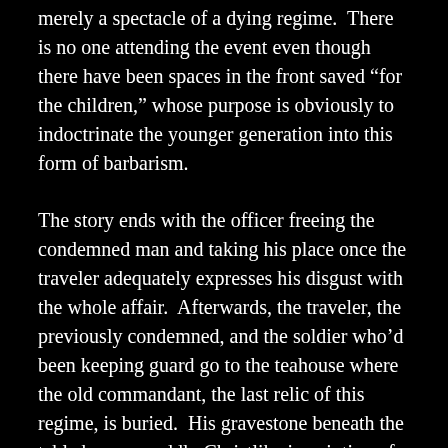merely a spectacle of a dying regime.  There is no one attending the event even though there have been spaces in the front saved “for the children,” whose purpose is obviously to indoctrinate the younger generation into this form of barbarism.
The story ends with the officer freeing the condemned man and taking his place once the traveler adequately expresses his disgust with the whole affair.  Afterwards, the traveler, the previously condemned, and the soldier who’d been keeping guard go to the teahouse where the old commandant, the last relic of this regime, is buried.  His gravestone beneath the table bears an oddly Christlike inscription of how he will return.  This makes the officer’s “sacrifice” a sort of mock crucifixion, a notion that gains credence in the realization he took the